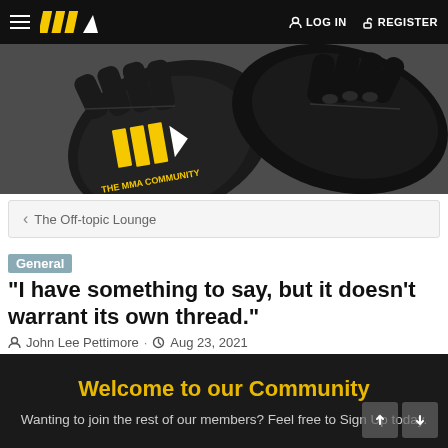THE MMA COMMUNITY — LOG IN  REGISTER
[Figure (photo): MMA gloves with THE MMA COMMUNITY logo in yellow, black and white on dark textured background]
< The Off-topic Lounge
General "I have something to say, but it doesn't warrant its own thread."
John Lee Pettimore · Aug 23, 2021
Welcome to our Community
Wanting to join the rest of our members? Feel free to Sign Up today.